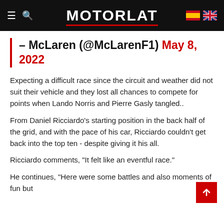MOTORLAT
– McLaren (@McLarenF1) May 8, 2022
Expecting a difficult race since the circuit and weather did not suit their vehicle and they lost all chances to compete for points when Lando Norris and Pierre Gasly tangled..
From Daniel Ricciardo's starting position in the back half of the grid, and with the pace of his car, Ricciardo couldn't get back into the top ten - despite giving it his all.
Ricciardo comments, "It felt like an eventful race."
He continues, "Here were some battles and also moments of fun but